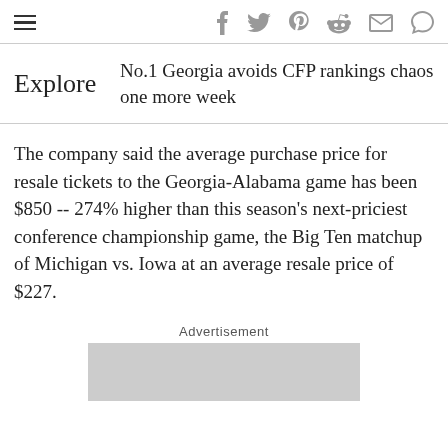≡  f  𝑡  p  d  ✉  ◯
No.1 Georgia avoids CFP rankings chaos one more week
The company said the average purchase price for resale tickets to the Georgia-Alabama game has been $850 -- 274% higher than this season's next-priciest conference championship game, the Big Ten matchup of Michigan vs. Iowa at an average resale price of $227.
Advertisement